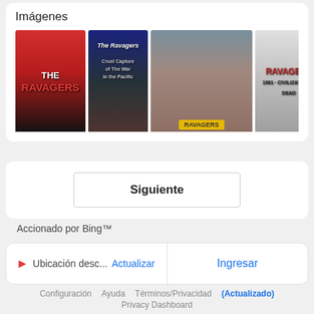Imágenes
[Figure (photo): A horizontal strip of movie poster images and photos related to 'The Ravagers' / 'Ravagers', showing various poster designs and a scene photo of two actors.]
Siguiente
Accionado por Bing™
Ubicación desc... Actualizar   Ingresar
Configuración   Ayuda   Términos/Privacidad (Actualizado)
Privacy Dashboard